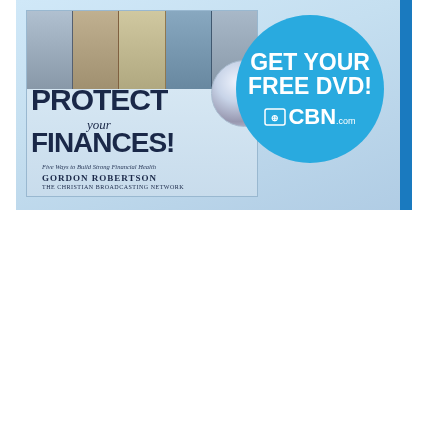[Figure (illustration): CBN advertisement banner for 'Protect Your Finances' DVD by Gordon Robertson / The Christian Broadcasting Network. Features a DVD cover with photos of people, large bold text reading 'PROTECT your FINANCES!', subtitle 'Five Ways to Build Strong Financial Health', author name 'Gordon Robertson' and 'The Christian Broadcasting Network'. A large cyan/blue circular badge overlaps the right side reading 'GET YOUR FREE DVD!' with the CBN.com logo. A blue vertical bar appears on the far right edge.]